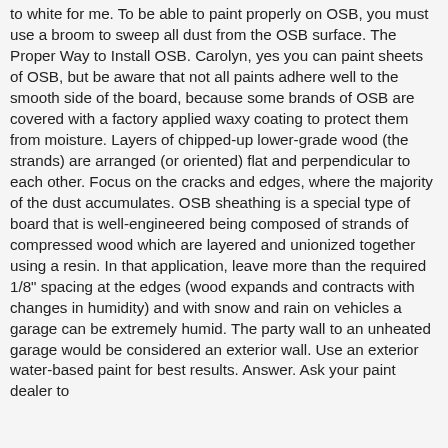to white for me. To be able to paint properly on OSB, you must use a broom to sweep all dust from the OSB surface. The Proper Way to Install OSB. Carolyn, yes you can paint sheets of OSB, but be aware that not all paints adhere well to the smooth side of the board, because some brands of OSB are covered with a factory applied waxy coating to protect them from moisture. Layers of chipped-up lower-grade wood (the strands) are arranged (or oriented) flat and perpendicular to each other. Focus on the cracks and edges, where the majority of the dust accumulates. OSB sheathing is a special type of board that is well-engineered being composed of strands of compressed wood which are layered and unionized together using a resin. In that application, leave more than the required 1/8" spacing at the edges (wood expands and contracts with changes in humidity) and with snow and rain on vehicles a garage can be extremely humid. The party wall to an unheated garage would be considered an exterior wall. Use an exterior water-based paint for best results. Answer. Ask your paint dealer to